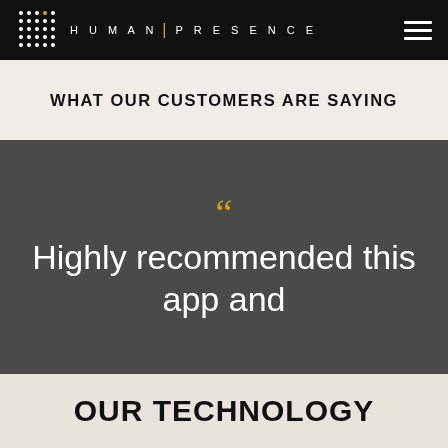HUMAN | PRESENCE
WHAT OUR CUSTOMERS ARE SAYING
“Highly recommended this app and
OUR TECHNOLOGY